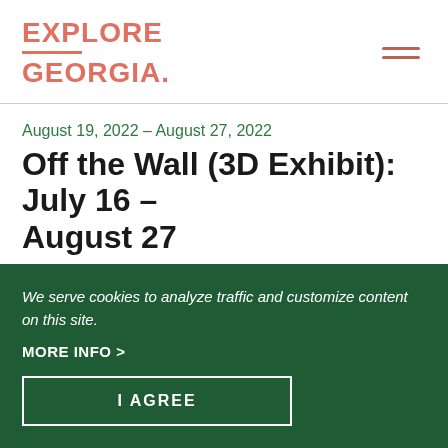EXPLORE GEORGIA
August 19, 2022 – August 27, 2022
Off the Wall (3D Exhibit): July 16 – August 27
Blue Ridge Mountains Art Center
VIEW ALL DATES >
Blue Ridge
We serve cookies to analyze traffic and customize content on this site.
MORE INFO >
I AGREE